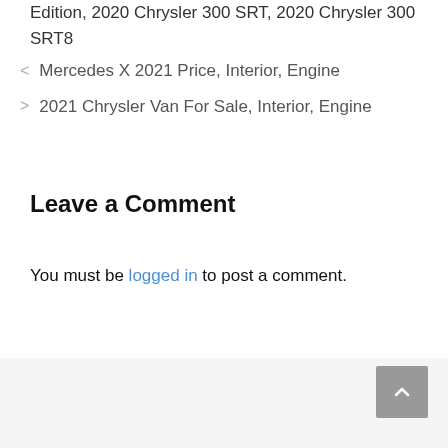Edition, 2020 Chrysler 300 SRT, 2020 Chrysler 300 SRT8
< Mercedes X 2021 Price, Interior, Engine
> 2021 Chrysler Van For Sale, Interior, Engine
Leave a Comment
You must be logged in to post a comment.